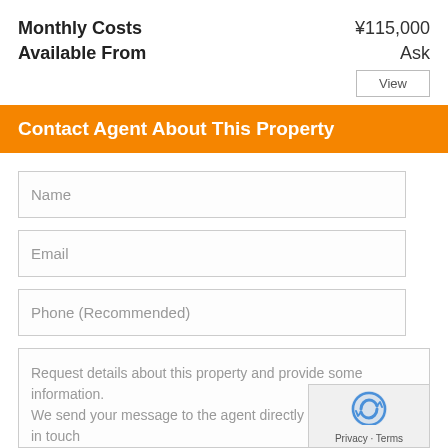Monthly Costs   ¥115,000
Available From   Ask
View
Contact Agent About This Property
Name
Email
Phone (Recommended)
Request details about this property and provide some information. We send your message to the agent directly and they will be in touch with you as soon as possible.
Privacy · Terms